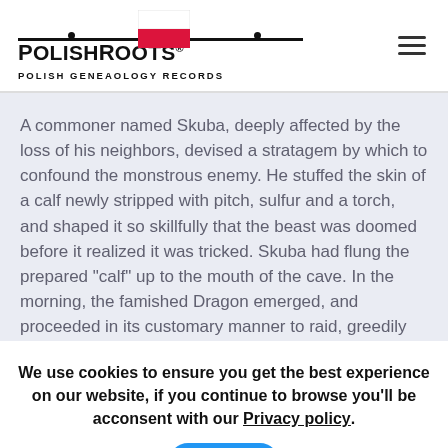PolishRoots® Polish Geneaology Records
A commoner named Skuba, deeply affected by the loss of his neighbors, devised a stratagem by which to confound the monstrous enemy. He stuffed the skin of a calf newly stripped with pitch, sulfur and a torch, and shaped it so skillfully that the beast was doomed before it realized it was tricked. Skuba had flung the prepared "calf" up to the mouth of the cave. In the morning, the famished Dragon emerged, and proceeded in its customary manner to raid, greedily swallowing whole the first thing in its path. The hidden fire ignited fatty tissue and all the frenzied gulping of
We use cookies to ensure you get the best experience on our website, if you continue to browse you'll be acconsent with our Privacy policy.